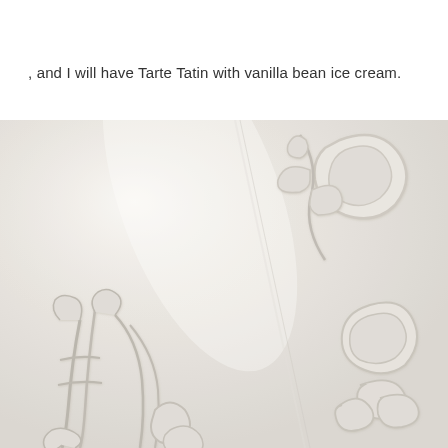, and I will have Tarte Tatin with vanilla bean ice cream.
[Figure (photo): Close-up photograph of white embossed linen fabric with decorative monogram/floral embossed patterns, showing raised cursive letters and ornamental leaf/floral motifs pressed into the pale cream-white textile]